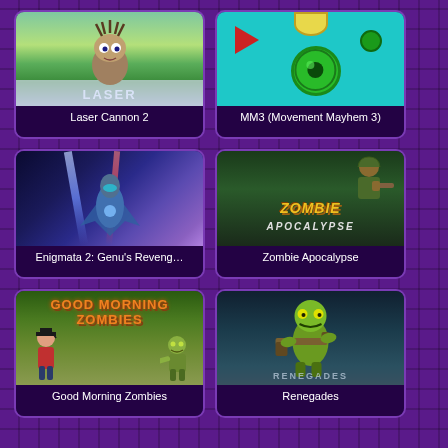[Figure (illustration): Game thumbnail for Laser Cannon 2 showing a creature character in a grassy environment with laser text]
Laser Cannon 2
[Figure (illustration): Game thumbnail for MM3 (Movement Mayhem 3) showing a cyan background with green eye circles and red play triangle]
MM3 (Movement Mayhem 3)
[Figure (illustration): Game thumbnail for Enigmata 2: Genu's Revenge showing a robotic/mech character with light beams on dark background]
Enigmata 2: Genu's Reveng…
[Figure (illustration): Game thumbnail for Zombie Apocalypse showing zombie text logo with character on green jungle background]
Zombie Apocalypse
[Figure (illustration): Game thumbnail for Good Morning Zombies showing title text and characters on green background]
Good Morning Zombies
[Figure (illustration): Game thumbnail for Renegades showing a zombie-like character with weapon on dark blue background]
Renegades